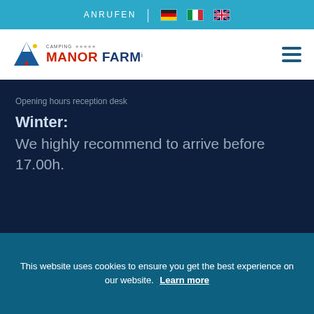ANRUFEN
[Figure (logo): Camping Manor Farm logo with mountain and tent icon, red MANOR and blue FARM text]
Opening hours reception desk
Winter:
We highly recommend to arrive before 17.00h.
This website uses cookies to ensure you get the best experience on our website. Learn more
Got it!